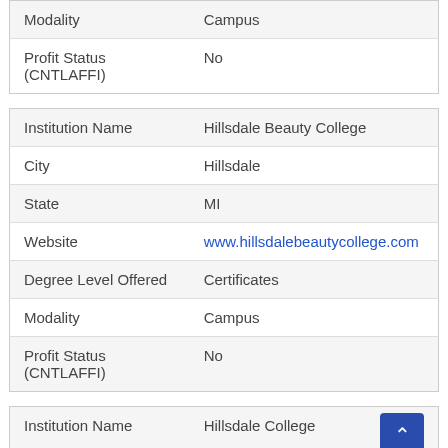| Field | Value |
| --- | --- |
| Modality | Campus |
| Profit Status (CNTLAFFI) | No |
| Field | Value |
| --- | --- |
| Institution Name | Hillsdale Beauty College |
| City | Hillsdale |
| State | MI |
| Website | www.hillsdalebeautycollege.com |
| Degree Level Offered | Certificates |
| Modality | Campus |
| Profit Status (CNTLAFFI) | No |
| Field | Value |
| --- | --- |
| Institution Name | Hillsdale College |
| City | Hillsdale |